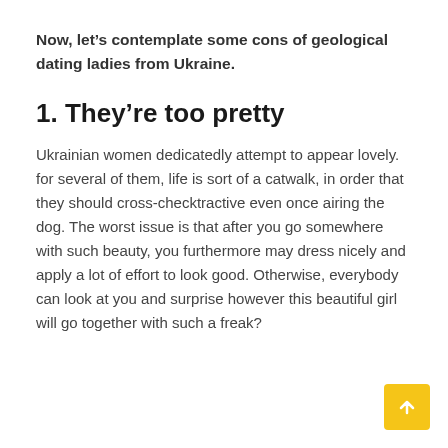Now, let’s contemplate some cons of geological dating ladies from Ukraine.
1. They’re too pretty
Ukrainian women dedicatedly attempt to appear lovely. for several of them, life is sort of a catwalk, in order that they should cross-checktractive even once airing the dog. The worst issue is that after you go somewhere with such beauty, you furthermore may dress nicely and apply a lot of effort to look good. Otherwise, everybody can look at you and surprise however this beautiful girl will go together with such a freak?